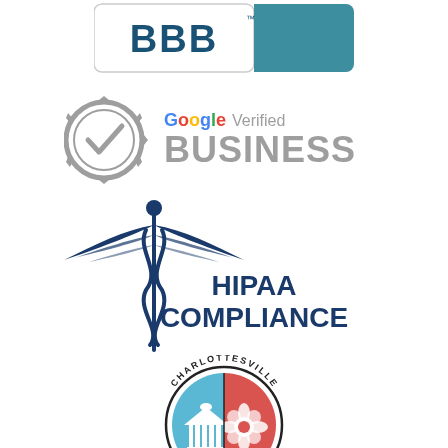[Figure (logo): BBB Better Business Bureau logo with teal background]
[Figure (logo): Google Verified Business badge with checkmark seal]
[Figure (logo): HIPAA Compliance logo with caduceus medical symbol and text HIPAA COMPLIANCE]
[Figure (logo): Charlottesville city seal showing building dome on blue side and flower on red side, with text CHARLOTTESVILLE around the border]